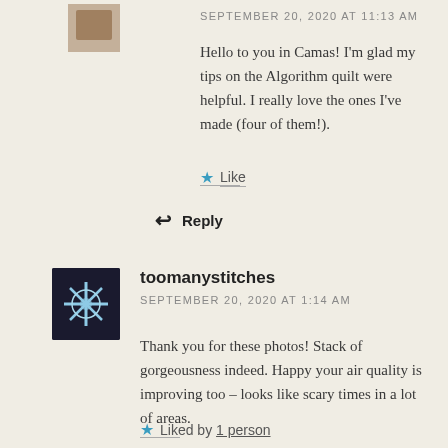SEPTEMBER 20, 2020 AT 11:13 AM
Hello to you in Camas! I'm glad my tips on the Algorithm quilt were helpful. I really love the ones I've made (four of them!).
Like
Reply
toomanystitches
SEPTEMBER 20, 2020 AT 1:14 AM
Thank you for these photos! Stack of gorgeousness indeed. Happy your air quality is improving too – looks like scary times in a lot of areas.
Liked by 1 person